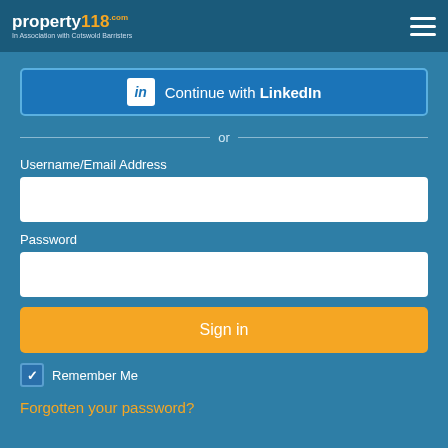property118.com – In Association with Cotswold Barristers
[Figure (logo): LinkedIn 'Continue with LinkedIn' button with LinkedIn icon]
or
Username/Email Address
Password
Sign in
Remember Me
Forgotten your password?